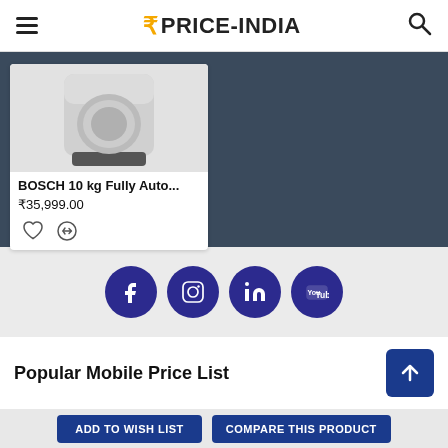₹PRICE-INDIA
[Figure (photo): BOSCH washing machine product image, gray cylindrical appliance]
BOSCH 10 kg Fully Auto...
₹35,999.00
[Figure (infographic): Social media icons: Facebook, Instagram, LinkedIn, YouTube — dark blue circles]
Popular Mobile Price List
ADD TO WISH LIST
COMPARE THIS PRODUCT